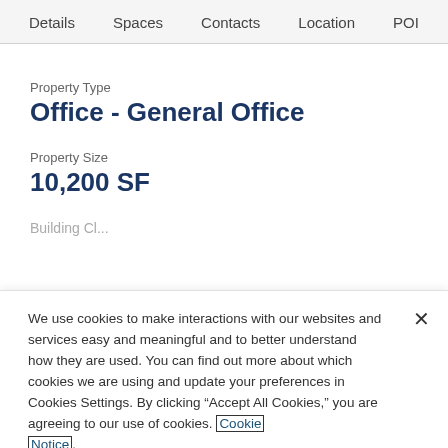Details  Spaces  Contacts  Location  POI
Property Type
Office - General Office
Property Size
10,200 SF
Building Cl...
We use cookies to make interactions with our websites and services easy and meaningful and to better understand how they are used. You can find out more about which cookies we are using and update your preferences in Cookies Settings. By clicking “Accept All Cookies,” you are agreeing to our use of cookies. Cookie Notice.
Cookies Settings
Accept All Cookies